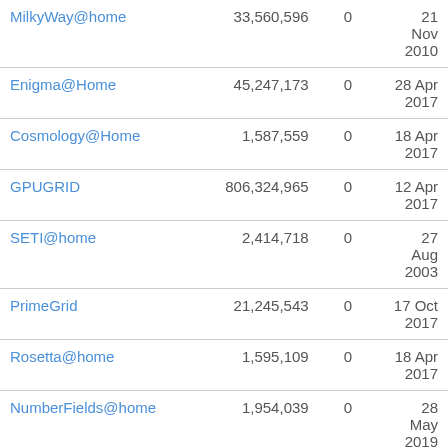| MilkyWay@home | 33,560,596 | 0 | 21 Nov 2010 |
| Enigma@Home | 45,247,173 | 0 | 28 Apr 2017 |
| Cosmology@Home | 1,587,559 | 0 | 18 Apr 2017 |
| GPUGRID | 806,324,965 | 0 | 12 Apr 2017 |
| SETI@home | 2,414,718 | 0 | 27 Aug 2003 |
| PrimeGrid | 21,245,543 | 0 | 17 Oct 2017 |
| Rosetta@home | 1,595,109 | 0 | 18 Apr 2017 |
| NumberFields@home | 1,954,039 | 0 | 28 May 2019 |